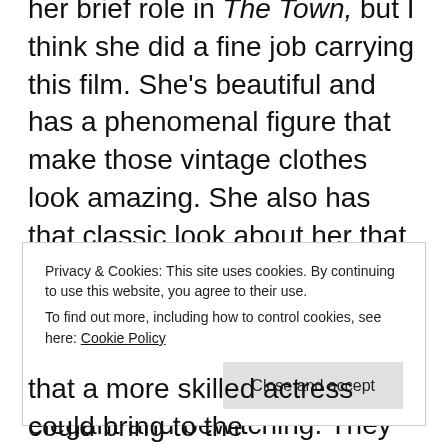her brief role in The Town, but I think she did a fine job carrying this film. She's beautiful and has a phenomenal figure that make those vintage clothes look amazing. She also has that classic look about her that fit the role. Some actresses might look too modern here, but Lively also has that quiet grace about her that is so elegant and bewitching. They initially wanted Natalie Portman in the role and she would've been good, but I think the fact that
Privacy & Cookies: This site uses cookies. By continuing to use this website, you agree to their use.
To find out more, including how to control cookies, see here: Cookie Policy
Close and accept
that a more skilled actress could bring to the